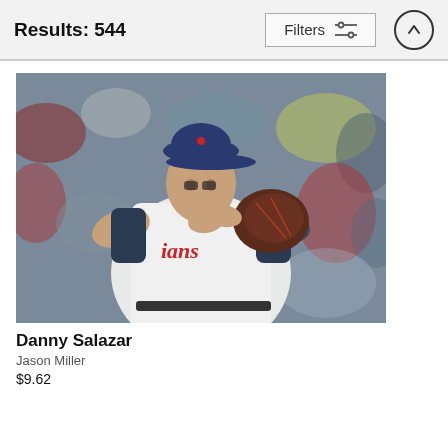Results: 544
[Figure (photo): Baseball pitcher Danny Salazar in Cleveland Indians white uniform holding a baseball glove, clapping hands, crowd visible in background]
Danny Salazar
Jason Miller
$9.62